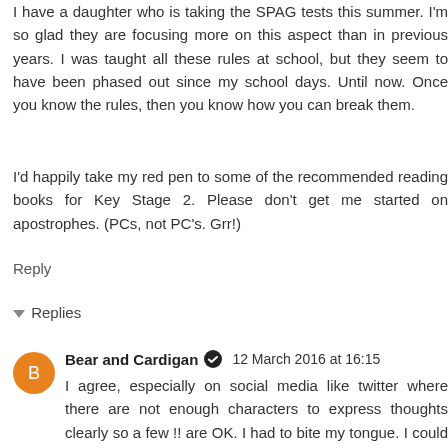I have a daughter who is taking the SPAG tests this summer. I'm so glad they are focusing more on this aspect than in previous years. I was taught all these rules at school, but they seem to have been phased out since my school days. Until now. Once you know the rules, then you know how you can break them.
I'd happily take my red pen to some of the recommended reading books for Key Stage 2. Please don't get me started on apostrophes. (PCs, not PC's. Grr!)
Reply
Replies
Bear and Cardigan  12 March 2016 at 16:15
I agree, especially on social media like twitter where there are not enough characters to express thoughts clearly so a few !! are OK. I had to bite my tongue. I could have filled a book about apostrophes and misuse of words (its, it's, there, their, they're etc). They may make an entrance in another post :-)